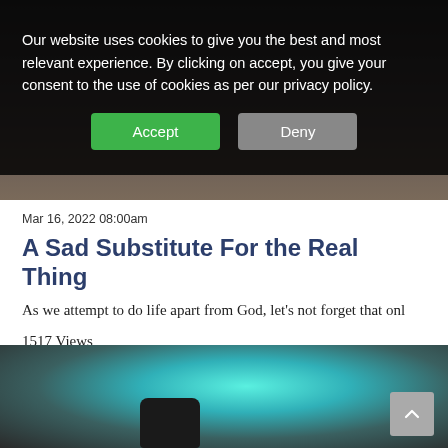[Figure (screenshot): Cookie consent overlay on a dark photo background. Text: 'Our website uses cookies to give you the best and most relevant experience. By clicking on accept, you give your consent to the use of cookies as per our privacy policy.' Two buttons: Accept (green) and Deny (grey).]
Mar 16, 2022 08:00am
A Sad Substitute For the Real Thing
As we attempt to do life apart from God, let’s not forget that onl
1517 Views
[Figure (photo): Blurred photo of a TV screen showing teal/blue content with a remote control in the foreground.]